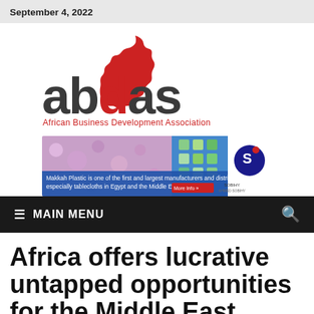September 4, 2022
[Figure (logo): ABDAS - African Business Development Association logo. Red Africa continent silhouette above bold dark grey 'abdas' wordmark with red 'd'. Subtitle: African Business Development Association.]
[Figure (infographic): Makkah Plastic advertisement banner. Colorful patterned tablecloth background, blue text area: 'Makkah Plastic is one of the first and largest manufacturers and distributors of plastic products especially tablecloths in Egypt and the Middle East.' with red 'More Info >>' button and SOBIHY logo on right.]
≡ MAIN MENU
Africa offers lucrative untapped opportunities for the Middle East investors